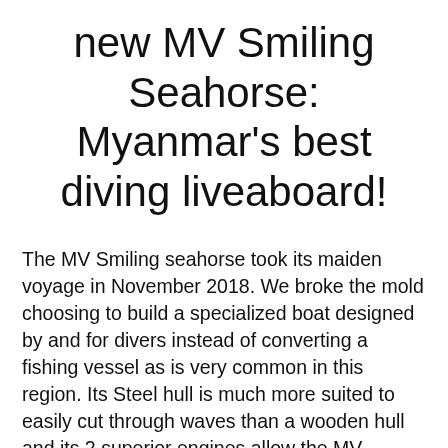new MV Smiling Seahorse: Myanmar's best diving liveaboard!
The MV Smiling seahorse took its maiden voyage in November 2018. We broke the mold choosing to build a specialized boat designed by and for divers instead of converting a fishing vessel as is very common in this region. Its Steel hull is much more suited to easily cut through waves than a wooden hull and its 2 superior engines allow the MV Smiling Seahorse to venture further into the unknown. Although the boat is larger than its predecessor, measuring 25m long and 6.4m wide, its 8 cabins and bathrooms spread over 4